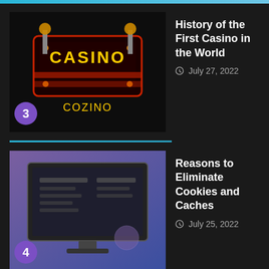[Figure (screenshot): Dark-themed website listing with two article cards. Card 3: Casino-themed thumbnail with 'CASINO' neon sign text, numbered badge '3' in purple circle. Title: 'History of the First Casino in the World', date: July 27, 2022. Card 4: Computer screen screenshot thumbnail, numbered badge '4' in purple circle. Title: 'Reasons to Eliminate Cookies and Caches', date: July 25, 2022.]
We use cookies on our website to give you the most relevant experience by remembering your preferences and repeat visits. By clicking “Accept”, you consent to the use of ALL the cookies.
Do not sell my personal information.
Cookie Settings
Accept